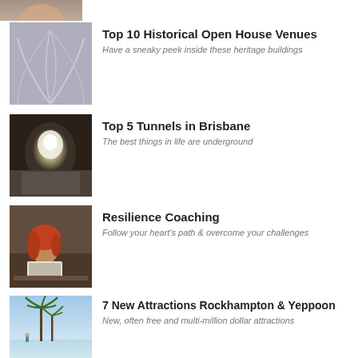[Figure (photo): Partial image at top of page, cropped]
[Figure (photo): Gothic arched stone ceiling interior of a heritage building]
Top 10 Historical Open House Venues
Have a sneaky peek inside these heritage buildings
[Figure (photo): Dark tunnel with light at the end, cave-like passage]
Top 5 Tunnels in Brisbane
The best things in life are underground
[Figure (photo): Woman with red hair working on a laptop in a cafe setting]
Resilience Coaching
Follow your heart's path & overcome your challenges
[Figure (photo): Beach scene with palm trees against a blue sky]
7 New Attractions Rockhampton & Yeppoon
New, often free and multi-million dollar attractions